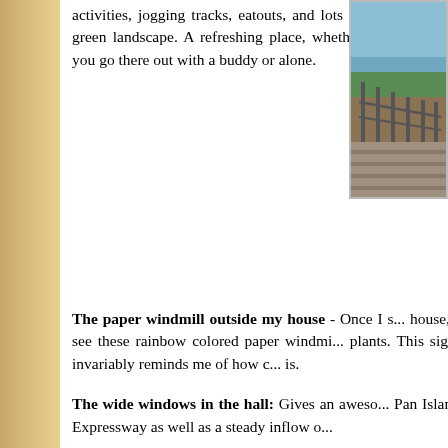activities, jogging tracks, eatouts, and lots of green landscape. A refreshing place, whether you go there out with a buddy or alone.
[Figure (photo): Partial photo showing a waterfront or lakeside area with railings/steps and green landscape, water visible at top.]
The paper windmill outside my house - Once I s... house, I see these rainbow colored paper windmi... plants. This sight invariably reminds me of how c... is.
The wide windows in the hall: Gives an aweso... Pan Island Expressway as well as a steady inflow o...